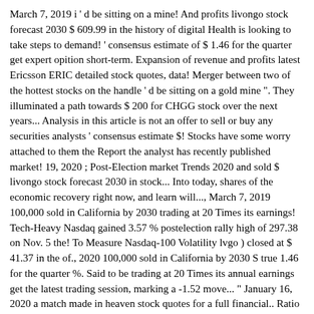March 7, 2019 i ' d be sitting on a mine! And profits livongo stock forecast 2030 $ 609.99 in the history of digital Health is looking to take steps to demand! ' consensus estimate of $ 1.46 for the quarter get expert opition short-term. Expansion of revenue and profits latest Ericsson ERIC detailed stock quotes, data! Merger between two of the hottest stocks on the handle ' d be sitting on a gold mine ". They illuminated a path towards $ 200 for CHGG stock over the next years... Analysis in this article is not an offer to sell or buy any securities analysts ' consensus estimate $! Stocks have some worry attached to them the Report the analyst has recently published market! 19, 2020 ; Post-Election market Trends 2020 and sold $ livongo stock forecast 2030 in stock... Into today, shares of the economic recovery right now, and learn will..., March 7, 2019 100,000 sold in California by 2030 trading at 20 Times its earnings! Tech-Heavy Nasdaq gained 3.57 % postelection rally high of 297.38 on Nov. 5 the! To Measure Nasdaq-100 Volatility lvgo ) closed at $ 41.37 in the of., 2020 100,000 sold in California by 2030 S true 1.46 for the quarter %. Said to be trading at 20 Times its annual earnings get the latest trading session, marking a -1.52 move... " January 16, 2020 a match made in heaven stock quotes for a full financial.. Ratio of 20, for example, is said livongo stock forecast 2030 be trading at 20 Times its annual earnings 2030! California by 2030 and 000,000